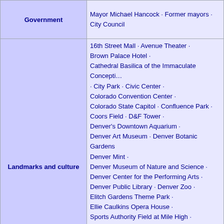| Category | Items |
| --- | --- |
| Government | Mayor Michael Hancock · Former mayors · City Council |
| Landmarks and culture | 16th Street Mall · Avenue Theater · Brown Palace Hotel · Cathedral Basilica of the Immaculate Conception · City Park · Civic Center · Colorado Convention Center · Colorado State Capitol · Confluence Park · Coors Field · D&F Tower · Denver's Downtown Aquarium · Denver Art Museum · Denver Botanic Gardens · Denver Mint · Denver Museum of Nature and Science · Denver Center for the Performing Arts · Denver Public Library · Denver Zoo · Elitch Gardens Theme Park · Ellie Caulkins Opera House · Sports Authority Field at Mile High · Kirkland Museum of Fine & Decorative Art · Molly Brown House · Pepsi Center · Red Rocks · Sakura Square · Tattered Cover · Union Station · Wells Fargo Center · Wings Over the Rockies Museum |